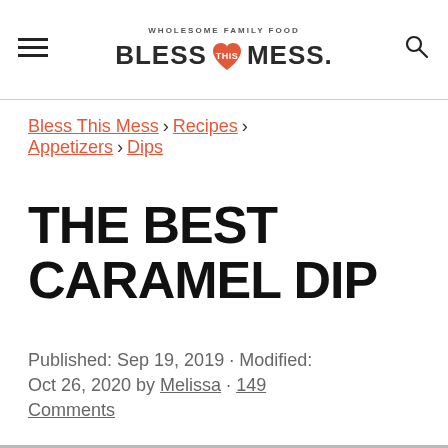WHOLESOME FAMILY FOOD · BLESS THIS MESS.
Bless This Mess > Recipes > Appetizers > Dips
THE BEST CARAMEL DIP
Published: Sep 19, 2019 · Modified: Oct 26, 2020 by Melissa · 149 Comments